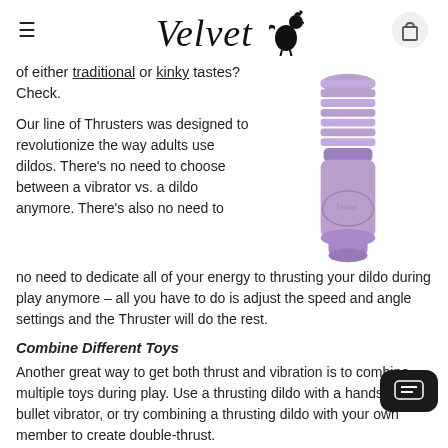Velvet [logo with rooster icon]
of either traditional or kinky tastes? Check.
[Figure (photo): Purple/lavender colored thrusting dildo product standing upright, cylindrical with ridged sections and a Velvet logo on the lower portion]
Our line of Thrusters was designed to revolutionize the way adults use dildos. There's no need to choose between a vibrator vs. a dildo anymore. There's also no need to dedicate all of your energy to thrusting your dildo during play anymore – all you have to do is adjust the speed and angle settings and the Thruster will do the rest.
Combine Different Toys
Another great way to get both thrust and vibration is to combine multiple toys during play. Use a thrusting dildo with a hands-free bullet vibrator, or try combining a thrusting dildo with your own member to create double-thrust.